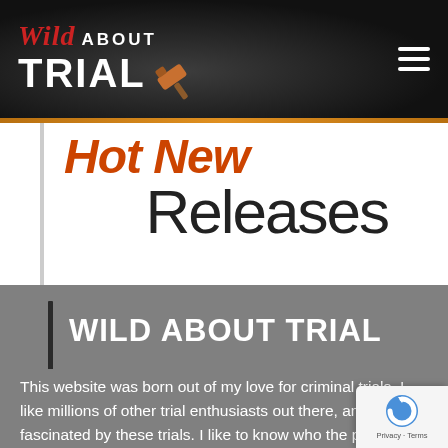Wild About Trial
[Figure (screenshot): Hot New Releases banner with electronic devices (gaming console and microphone)]
Stormy Daniels Supreme Court Trump
WILD ABOUT TRIAL
This website was born out of my love for criminal trials. I, like millions of other trial enthusiasts out there, am fascinated by these trials. I like to know who the players are, what the backstory is, when it happened, how it